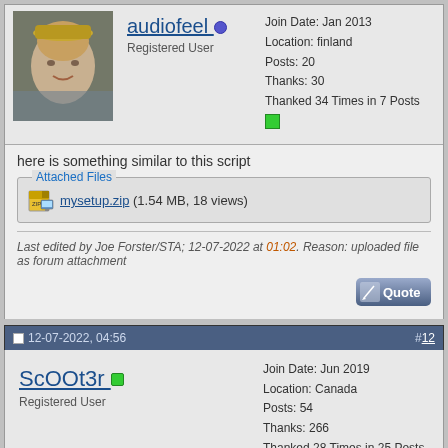[Figure (photo): Profile photo of user audiofeel wearing a hat]
audiofeel
Registered User
Join Date: Jan 2013
Location: finland
Posts: 20
Thanks: 30
Thanked 34 Times in 7 Posts
here is something similar to this script
Attached Files
mysetup.zip (1.54 MB, 18 views)
Last edited by Joe Forster/STA; 12-07-2022 at 01:02. Reason: uploaded file as forum attachment
12-07-2022, 04:56   #12
ScOOt3r
Registered User
Join Date: Jun 2019
Location: Canada
Posts: 54
Thanks: 266
Thanked 28 Times in 25 Posts
works fine for me.. nice work and the setup looks cool